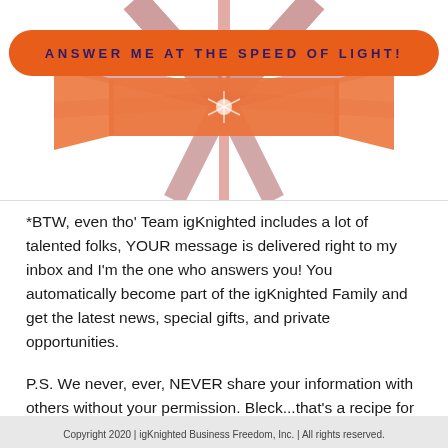[Figure (illustration): Orange pill-shaped button with dark purple bold text 'ANSWER ME AT THE SPEED OF LIGHT!' on an orange/red starburst ribbon graphic background]
*BTW, even tho' Team igKnighted includes a lot of talented folks, YOUR message is delivered right to my inbox and I'm the one who answers you! You automatically become part of the igKnighted Family and get the latest news, special gifts, and private opportunities.
P.S. We never, ever, NEVER share your information with others without your permission. Bleck...that's a recipe for horrible karma!
Copyright 2020 | igKnighted Business Freedom, Inc. | All rights reserved.